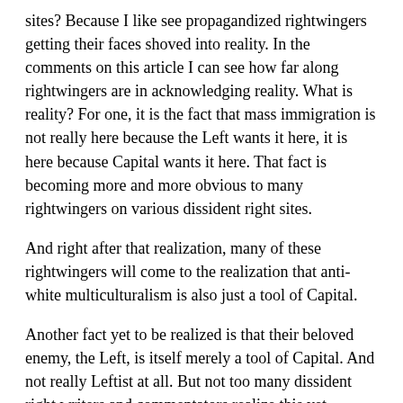sites? Because I like see propagandized rightwingers getting their faces shoved into reality. In the comments on this article I can see how far along rightwingers are in acknowledging reality. What is reality? For one, it is the fact that mass immigration is not really here because the Left wants it here, it is here because Capital wants it here. That fact is becoming more and more obvious to many rightwingers on various dissident right sites.
And right after that realization, many of these rightwingers will come to the realization that anti-white multiculturalism is also just a tool of Capital.
Another fact yet to be realized is that their beloved enemy, the Left, is itself merely a tool of Capital. And not really Leftist at all. But not too many dissident right writers and commentators realize this yet.
Some of the leftwingers on their sites have also started to realize that mass immigration is hurting americans. recently, Bernie Sanders coincidentally applied his knowledge of this realization...